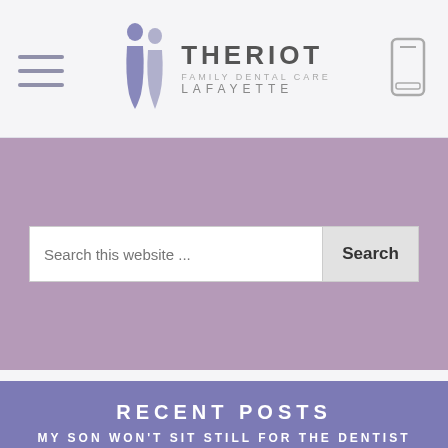[Figure (logo): Theriot Family Dental Care Lafayette logo with two simplified human figures and text]
[Figure (illustration): Hamburger menu icon - three horizontal lines]
[Figure (illustration): Mobile phone icon]
Search this website ...
Search
RECENT POSTS
MY SON WON'T SIT STILL FOR THE DENTIST
DENTAL INSURANCE AND DENTAL